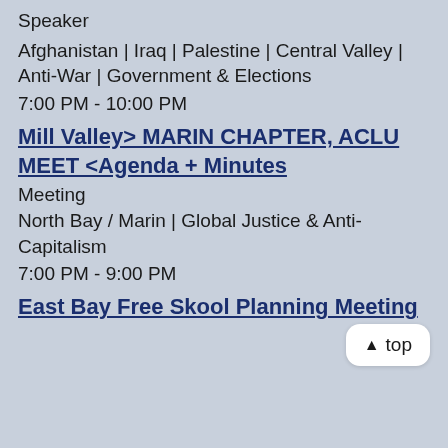Speaker
Afghanistan | Iraq | Palestine | Central Valley | Anti-War | Government & Elections
7:00 PM - 10:00 PM
Mill Valley> MARIN CHAPTER, ACLU MEET <Agenda + Minutes
Meeting
North Bay / Marin | Global Justice & Anti-Capitalism
7:00 PM - 9:00 PM
East Bay Free Skool Planning Meeting